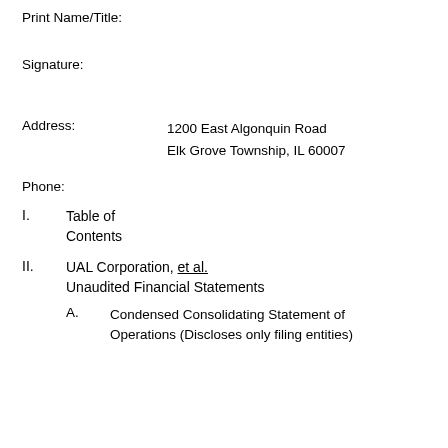Print Name/Title:
Signature:
Address:    1200 East Algonquin Road
            Elk Grove Township, IL 60007
Phone:
I.    Table of Contents
II.   UAL Corporation, et al. Unaudited Financial Statements
A.    Condensed Consolidating Statement of Operations (Discloses only filing entities)